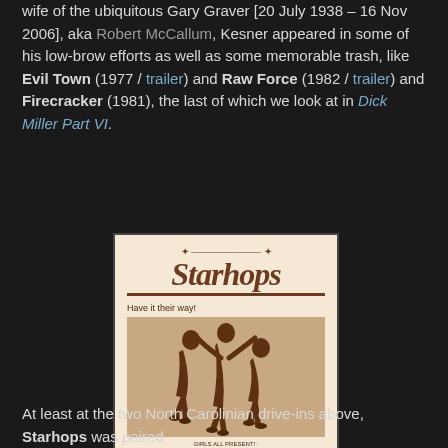wife of the ubiquitous Gary Graver [20 July 1938 – 16 Nov 2006], aka Robert McCallum, Kesner appeared in some of his low-brow efforts as well as some memorable trash, like Evil Town (1977 / trailer) and Raw Force (1982 / trailer) and Firecracker (1981), the last of which we look at in Dick Miller Part VI.
[Figure (photo): Movie advertisement/poster for Starhops (1978), showing the Starhops logo at top with starburst, a photograph of roller-skating carhops in sepia tone with tagline 'Have it their way!', small credits text, '2nd Feature: Thank God It's Friday (R)', and two theater listings: FOX Drive-In and MIDWAY Drive-In.]
At least at the two North Carolinian drive-ins above, Starhops was paired